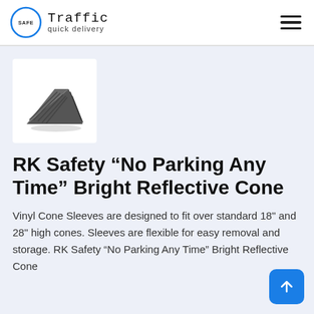Traffic quick delivery — navigation header with logo and hamburger menu
[Figure (photo): Dark grey ribbed triangular wheel chock / rubber wedge block product photo on white background]
RK Safety “No Parking Any Time” Bright Reflective Cone
Vinyl Cone Sleeves are designed to fit over standard 18" and 28" high cones. Sleeves are flexible for easy removal and storage. RK Safety “No Parking Any Time” Bright Reflective Cone